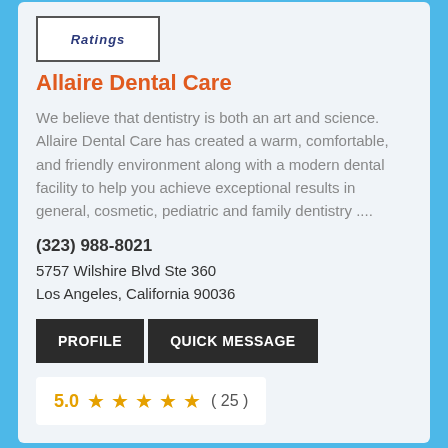[Figure (logo): Ratings logo box with italic text 'Ratings']
Allaire Dental Care
We believe that dentistry is both an art and science. Allaire Dental Care has created a warm, comfortable, and friendly environment along with a modern dental facility to help you achieve exceptional results in general, cosmetic, pediatric and family dentistry ....
(323) 988-8021
5757 Wilshire Blvd Ste 360
Los Angeles, California 90036
PROFILE   QUICK MESSAGE
5.0 ★★★★★ ( 25 )
[Figure (logo): Second listing logo box with heart graphic]